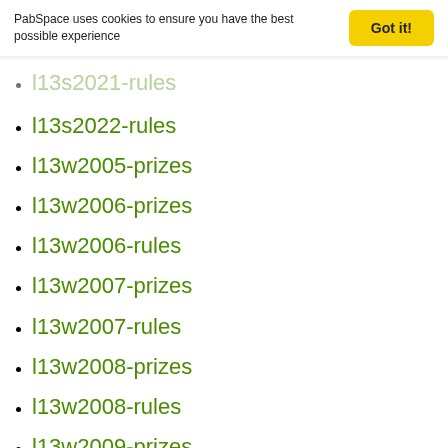PabSpace uses cookies to ensure you have the best possible experience  Got it!
l13s2021-rules
l13s2022-rules
l13w2005-prizes
l13w2006-prizes
l13w2006-rules
l13w2007-prizes
l13w2007-rules
l13w2008-prizes
l13w2008-rules
l13w2009-prizes
l13w2009-rules
l13w2010-prizes
l13w2010-rules
l13w2011-prizes
l13w2011-rules
l13w2012-prizes